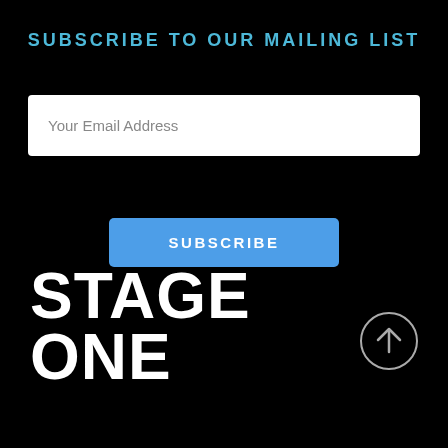SUBSCRIBE TO OUR MAILING LIST
Your Email Address
SUBSCRIBE
[Figure (logo): Stage One logo in large bold white text on black background]
[Figure (illustration): Circular arrow button pointing upward, white circle outline with upward arrow inside]